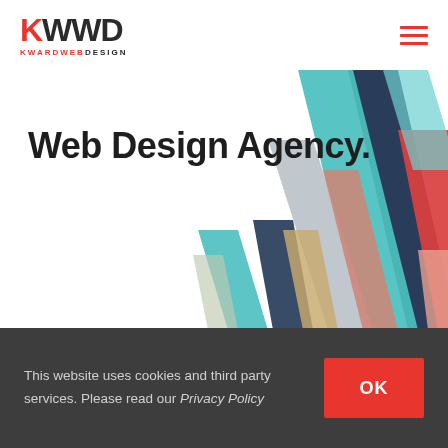KWWD KWARDWEBDESIGN
Web Design Agency.
[Figure (illustration): Colorful geometric abstract illustration with overlapping diagonal ribbons/arrows in teal, dark navy, red/coral, light gray, gold/tan, salmon pink colors pointing upward, decorating the right side of the hero section.]
This website uses cookies and third party services. Please read our Privacy Policy
OK